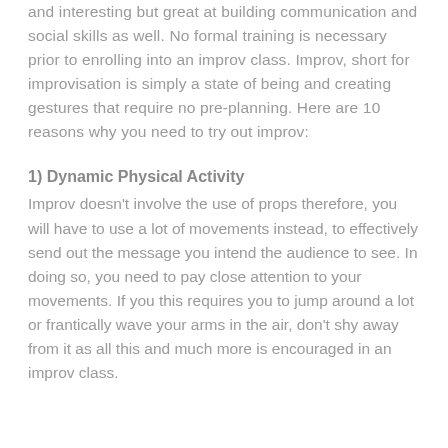and interesting but great at building communication and social skills as well. No formal training is necessary prior to enrolling into an improv class. Improv, short for improvisation is simply a state of being and creating gestures that require no pre-planning. Here are 10 reasons why you need to try out improv:
1) Dynamic Physical Activity
Improv doesn't involve the use of props therefore, you will have to use a lot of movements instead, to effectively send out the message you intend the audience to see. In doing so, you need to pay close attention to your movements. If you this requires you to jump around a lot or frantically wave your arms in the air, don't shy away from it as all this and much more is encouraged in an improv class.